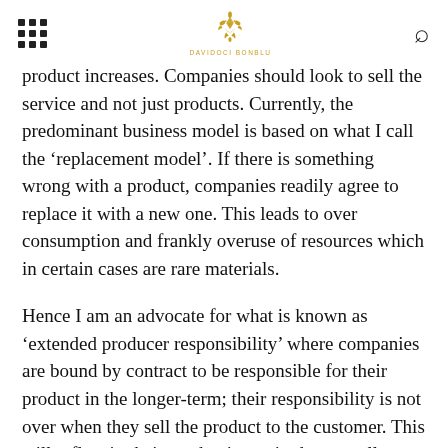[navigation dots] [Davidoci Bonblu logo] [search icon]
product increases. Companies should look to sell the service and not just products. Currently, the predominant business model is based on what I call the 'replacement model'. If there is something wrong with a product, companies readily agree to replace it with a new one. This leads to over consumption and frankly overuse of resources which in certain cases are rare materials.
Hence I am an advocate for what is known as 'extended producer responsibility' where companies are bound by contract to be responsible for their product in the longer-term; their responsibility is not over when they sell the product to the customer. This will reflect in their production attitudes as well, where they will look to produce a long-lasting product that wouldn't require frequent repair.